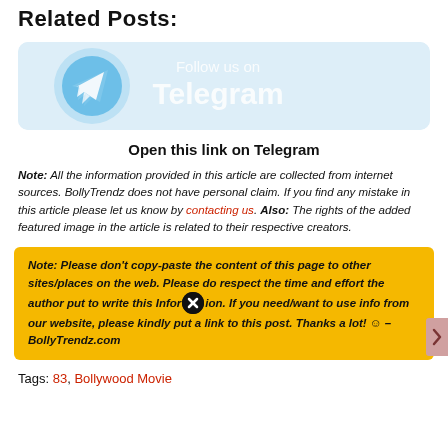Related Posts:
[Figure (illustration): Telegram follow banner with light blue background, Telegram logo icon on left and 'Follow us on Telegram' text in large white letters]
Open this link on Telegram
Note: All the information provided in this article are collected from internet sources. BollyTrendz does not have personal claim. If you find any mistake in this article please let us know by contacting us. Also: The rights of the added featured image in the article is related to their respective creators.
Note: Please don't copy-paste the content of this page to other sites/places on the web. Please do respect the time and effort the author put to write this Information. If you need/want to use info from our website, please kindly put a link to this post. Thanks a lot! 🙂 – BollyTrendz.com
Tags: 83, Bollywood Movie